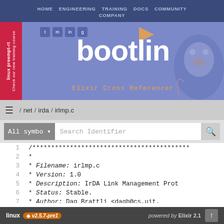[Figure (screenshot): Bootlin website header banner with logo, navigation links, social icons, and Elixir Cross Referencer subtitle on blue/purple background with penguin mascot]
HOME  ENGINEERING  TRAINING  DOCS  COMMUNITY  COMPANY
bootlin — Elixir Cross Referencer
/ net / irda / irlmp.c
All symbo ▾  Search Identifier
1  /******************************************
2   *
3   * Filename:     irlmp.c
4   * Version:      1.0
5   * Description:  IrDA Link Management Prot
6   * Status:       Stable.
7   * Author:       Dag Brattli <dagb@cs.uit.
8   * <truncated>
linux  v2.5.7-pre1  powered by  Elixir 2.1